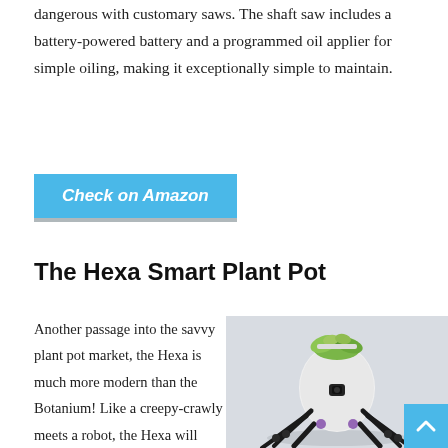dangerous with customary saws. The shaft saw includes a battery-powered battery and a programmed oil applier for simple oiling, making it exceptionally simple to maintain.
[Figure (other): Blue 'Check on Amazon' button with gray bottom border shadow]
The Hexa Smart Plant Pot
Another passage into the savvy plant pot market, the Hexa is much more modern than the Botanium! Like a creepy-crawly meets a robot, the Hexa will explore off-road to look for its optimal developing conditions. Plant a bush or plant in the highest point of the Hexa, and it
[Figure (photo): Photo of the Hexa smart plant pot — a white egg-shaped pot with a succulent plant on top, sitting on multiple black robotic legs, on a light background]